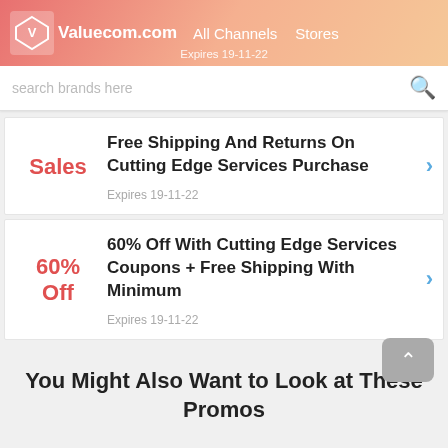Valuecom.com  All Channels  Stores  Expires 19-11-22
search brands here
Free Shipping And Returns On Cutting Edge Services Purchase
Expires 19-11-22
60% Off With Cutting Edge Services Coupons + Free Shipping With Minimum
Expires 19-11-22
You Might Also Want to Look at These Promos